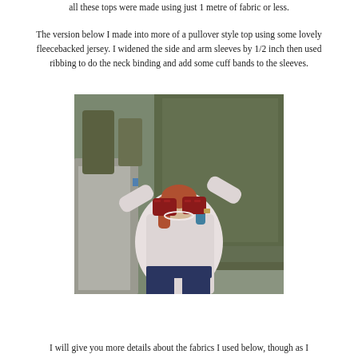all these tops were made using just 1 metre of fabric or less.
The version below I made into more of a pullover style top using some lovely fleecebacked jersey. I widened the side and arm sleeves by 1/2 inch then used ribbing to do the neck binding and add some cuff bands to the sleeves.
[Figure (photo): A woman wearing a light pink/white long-sleeve pullover top and dark jeans, standing outdoors in front of a large hedge. She is holding red mittens/gloves up to cover her face. The background shows a garden path and trees.]
I will give you more details about the fabrics I used below, though as I